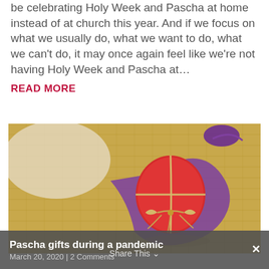be celebrating Holy Week and Pascha at home instead of at church this year. And if we focus on what we usually do, what we want to do, what we can't do, it may once again feel like we're not having Holy Week and Pascha at...
READ MORE
[Figure (photo): A red Easter egg wrapped with raffia twine bow, resting on a purple mesh gift bag on burlap fabric background]
Pascha gifts during a pandemic
March 20, 2020 | 2 Comments
Share This